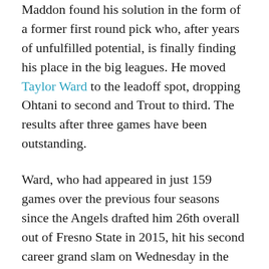Maddon found his solution in the form of a former first round pick who, after years of unfulfilled potential, is finally finding his place in the big leagues. He moved Taylor Ward to the leadoff spot, dropping Ohtani to second and Trout to third. The results after three games have been outstanding.
Ward, who had appeared in just 159 games over the previous four seasons since the Angels drafted him 26th overall out of Fresno State in 2015, hit his second career grand slam on Wednesday in the Angels' 9-5 win over the Cleveland Guardians. Ward finished the game 3-4 with four RBI and four runs scored, coming only a single away from hitting for the cycle.
His move into the leadoff spot is paying immediate dividends for the Angels and those following him in the lineup. Ward is 6-12 in the last three games with three...